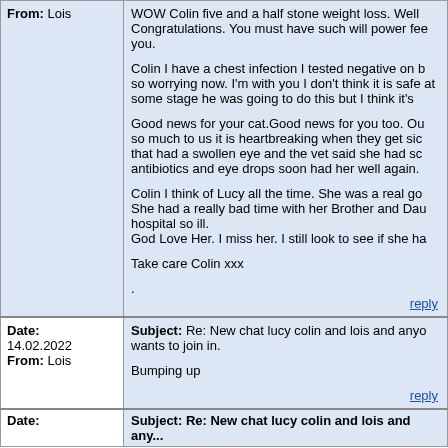| From: Lois | WOW Colin five and a half stone weight loss. Well Congratulations. You must have such will power fee you.

Colin I have a chest infection I tested negative on b so worrying now. I'm with you I don't think it is safe at some stage he was going to do this but I think it's

Good news for your cat.Good news for you too. Ou so much to us it is heartbreaking when they get sic that had a swollen eye and the vet said she had sc antibiotics and eye drops soon had her well again.

Colin I think of Lucy all the time. She was a real go She had a really bad time with her Brother and Dau hospital so ill.
God Love Her. I miss her. I still look to see if she ha

Take care Colin xxx
.
reply |
| Date:
14.02.2022
From: Lois | Subject: Re: New chat lucy colin and lois and anyo wants to join in.

Bumping up
reply |
| Date: | Subject: Re: New chat lucy colin and lois and any... |